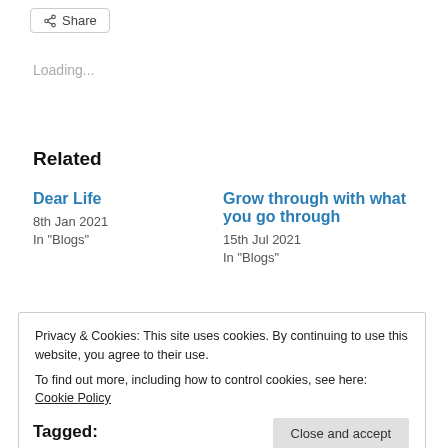[Figure (other): Share button with share icon]
Loading...
Related
Dear Life
8th Jan 2021
In "Blogs"
Grow through with what you go through
15th Jul 2021
In "Blogs"
Privacy & Cookies: This site uses cookies. By continuing to use this website, you agree to their use.
To find out more, including how to control cookies, see here: Cookie Policy
Close and accept
Tagged: